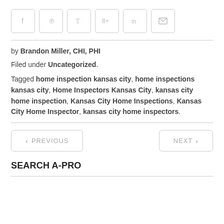[Figure (other): Row of social sharing icon buttons: Facebook (f), Pinterest (p), Twitter (bird), Google+ (8+), LinkedIn (in), Email (envelope)]
by Brandon Miller, CHI, PHI
Filed under Uncategorized.
Tagged home inspection kansas city, home inspections kansas city, Home Inspectors Kansas City, kansas city home inspection, Kansas City Home Inspections, Kansas City Home Inspector, kansas city home inspectors.
< PREVIOUS
NEXT >
SEARCH A-PRO